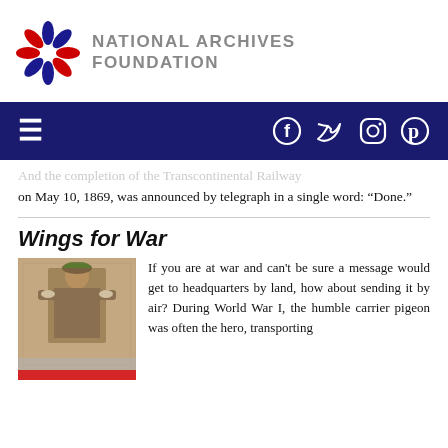NATIONAL ARCHIVES FOUNDATION
And the completion of the Transcontinental Railway on May 10, 1869, was announced by telegraph in a single word: “Done.”
Wings for War
[Figure (photo): Sepia-toned historical photograph of a soldier in uniform holding pigeons, standing in front of a building]
If you are at war and can't be sure a message would get to headquarters by land, how about sending it by air? During World War I, the humble carrier pigeon was often the hero, transporting